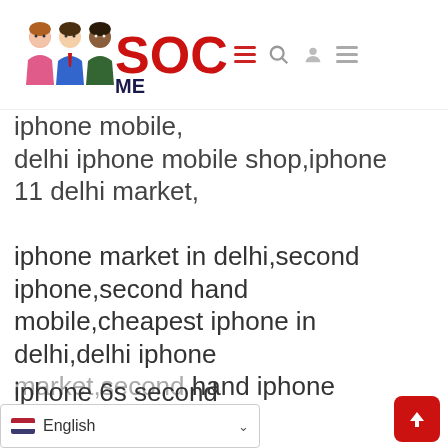[Figure (logo): SocialMe logo with cartoon figures of diverse people and red bold SOCIAL text with ME in dark blue]
iphone mobile, delhi iphone mobile shop,iphone 11 delhi market,
iphone market in delhi,second iphone,second hand mobile,cheapest iphone in delhi,delhi iphone market,second hand iphone ... iphone 6s second